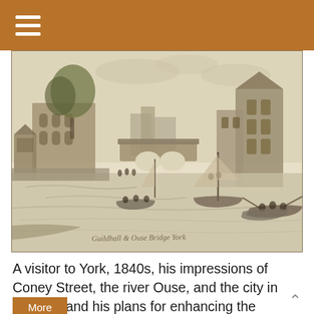≡ (hamburger menu)
[Figure (illustration): 19th century engraving of Guildhall and Ouse Bridge, York. Shows a riverside scene with buildings on both sides, a stone arch bridge in the middle distance, sailing boats and rowing boats on the River Ouse, and trees on the left. Handwritten caption at bottom reads 'Guildhall & Ouse Bridge York'.]
A visitor to York, 1840s, his impressions of Coney Street, the river Ouse, and the city in general, and his plans for enhancing the riverside areas.
More